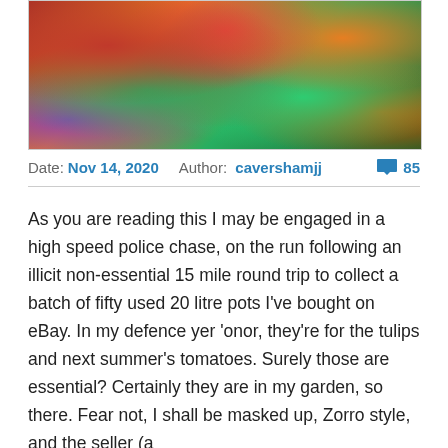[Figure (photo): Close-up photograph of colorful autumn leaves with red, orange, green and pink hues on a shrub plant.]
Date: Nov 14, 2020   Author: cavershamjj   💬 85
As you are reading this I may be engaged in a high speed police chase, on the run following an illicit non-essential 15 mile round trip to collect a batch of fifty used 20 litre pots I've bought on eBay. In my defence yer 'onor, they're for the tulips and next summer's tomatoes. Surely those are essential? Certainly they are in my garden, so there. Fear not, I shall be masked up, Zorro style, and the seller (a